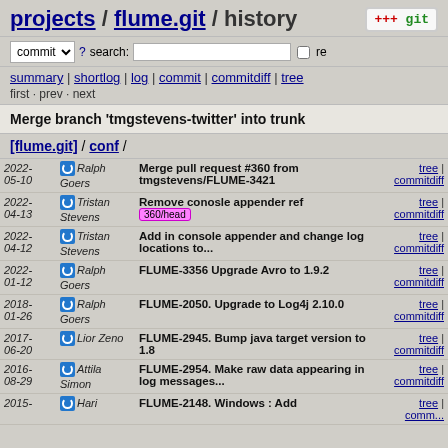projects / flume.git / history
commit ? search: re
summary | shortlog | log | commit | commitdiff | tree
first · prev · next
Merge branch 'tmgstevens-twitter' into trunk
[flume.git] / conf /
| Date | Author | Commit Message | Links |
| --- | --- | --- | --- |
| 2022-05-10 | Ralph Goers | Merge pull request #360 from tmgstevens/FLUME-3421 | tree | commitdiff |
| 2022-04-13 | Tristan Stevens | Remove conosle appender ref 360/head | tree | commitdiff |
| 2022-04-12 | Tristan Stevens | Add in console appender and change log locations to... | tree | commitdiff |
| 2022-01-12 | Ralph Goers | FLUME-3356 Upgrade Avro to 1.9.2 | tree | commitdiff |
| 2018-01-26 | Ralph Goers | FLUME-2050. Upgrade to Log4j 2.10.0 | tree | commitdiff |
| 2017-06-20 | Lior Zeno | FLUME-2945. Bump java target version to 1.8 | tree | commitdiff |
| 2016-08-29 | Attila Simon | FLUME-2954. Make raw data appearing in log messages... | tree | commitdiff |
| 2015- | Hari | FLUME-2148. Windows : Add | tree | commitdiff |